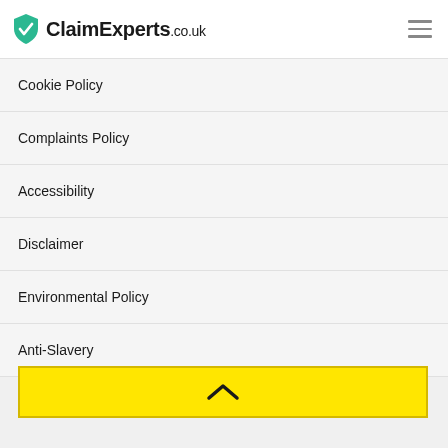ClaimExperts.co.uk
Cookie Policy
Complaints Policy
Accessibility
Disclaimer
Environmental Policy
Anti-Slavery
[Figure (other): Yellow back-to-top button with upward chevron arrow]